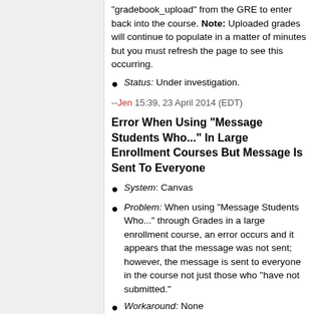gradebook_upload from the GRE to enter back into the course. Note: Uploaded grades will continue to populate in a matter of minutes but you must refresh the page to see this occurring.
Status: Under investigation.
--Jen 15:39, 23 April 2014 (EDT)
Error When Using "Message Students Who..." In Large Enrollment Courses But Message Is Sent To Everyone
System: Canvas
Problem: When using "Message Students Who..." through Grades in a large enrollment course, an error occurs and it appears that the message was not sent; however, the message is sent to everyone in the course not just those who "have not submitted."
Workaround: None
Status: Under investigation by Canvas Te...